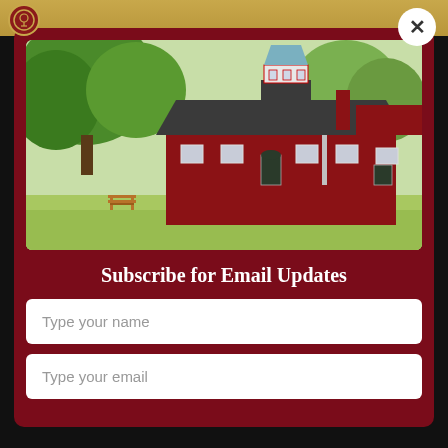[Figure (photo): Red barn-style building with white cupola tower, large trees on the left, green lawn with a wooden bench in foreground]
Subscribe for Email Updates
Type your name
Type your email